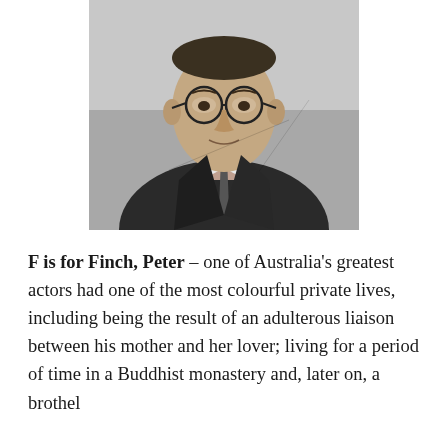[Figure (photo): Black and white portrait photograph of Peter Finch, a man wearing round glasses, a dark suit and tie, looking slightly to one side.]
F is for Finch, Peter – one of Australia's greatest actors had one of the most colourful private lives, including being the result of an adulterous liaison between his mother and her lover; living for a period of time in a Buddhist monastery and, later on, a brothel